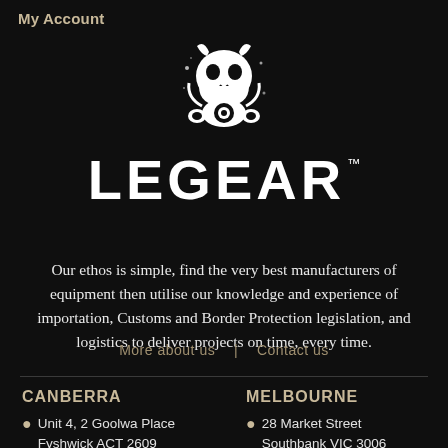My Account
[Figure (logo): Legear logo: skull wearing gas mask illustration above the wordmark LEGEAR with TM symbol]
Our ethos is simple, find the very best manufacturers of equipment then utilise our knowledge and experience of importation, Customs and Border Protection legislation, and logistics to deliver projects on time, every time.
More about us  |  Contact us
CANBERRA
Unit 4, 2 Goolwa Place
Fyshwick ACT 2609
MELBOURNE
28 Market Street
Southbank VIC 3006